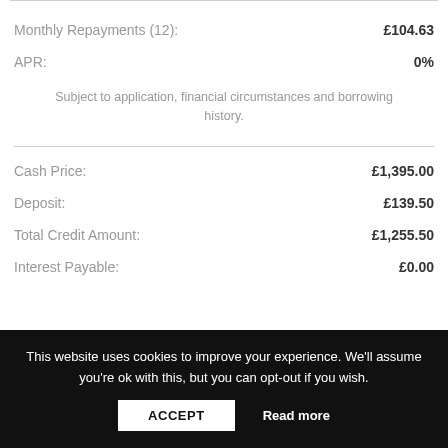| Item | Value |
| --- | --- |
| Monthly Repayments (12): | £104.63 |
| APR: | 0% |
Subject to application, financial circumstances and borrowing history.
| Item | Value |
| --- | --- |
| Cash Price: | £1,395.00 |
| Deposit: | £139.50 |
| Total Credit Amount: | £1,255.50 |
| Interest Payable: | £0.00 |
This website uses cookies to improve your experience. We'll assume you're ok with this, but you can opt-out if you wish.
ACCEPT
Read more